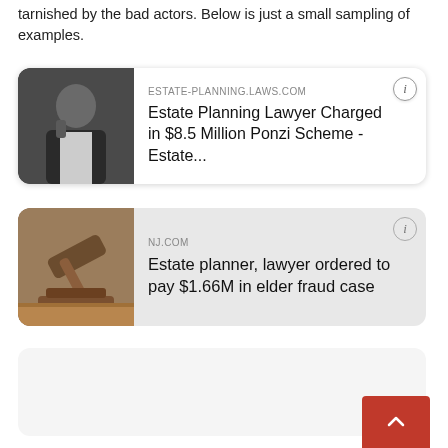tarnished by the bad actors. Below is just a small sampling of examples.
[Figure (infographic): News article card with photo of a man in suit on phone. Source: ESTATE-PLANNING.LAWS.COM. Headline: Estate Planning Lawyer Charged in $8.5 Million Ponzi Scheme - Estate...]
[Figure (infographic): News article card with photo of a wooden gavel. Source: NJ.COM. Headline: Estate planner, lawyer ordered to pay $1.66M in elder fraud case]